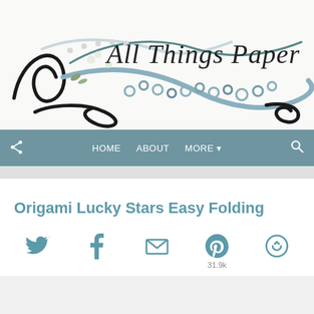[Figure (illustration): All Things Paper blog header banner with decorative paper quilling artwork and cursive/calligraphy brand name 'All Things Paper']
HOME   ABOUT   MORE ▾
Origami Lucky Stars Easy Folding
[Figure (infographic): Social sharing icons row: Twitter bird, Facebook f, Email envelope, Pinterest P with count 31.9k, and a circular share icon]